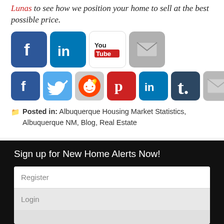Lunas to see how we position your home to sell at the best possible price.
[Figure (infographic): Social media share icons row 1: Facebook, LinkedIn, YouTube, Email]
[Figure (infographic): Social media share icons row 2: Facebook, Twitter, Reddit, Pinterest, LinkedIn, Tumblr, Email]
Posted in: Albuquerque Housing Market Statistics, Albuquerque NM, Blog, Real Estate
Sign up for New Home Alerts Now!
Register
Login